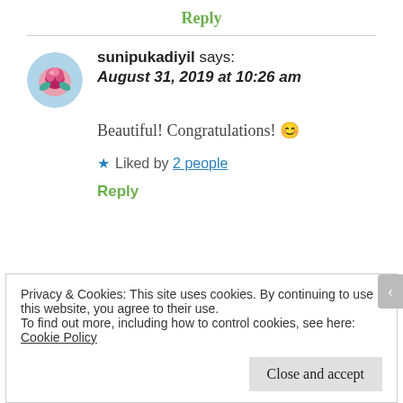Reply
sunipukadiyil says: August 31, 2019 at 10:26 am
Beautiful! Congratulations! 😊
★ Liked by 2 people
Reply
Privacy & Cookies: This site uses cookies. By continuing to use this website, you agree to their use.
To find out more, including how to control cookies, see here: Cookie Policy